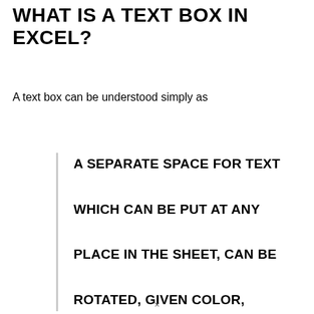WHAT IS A TEXT BOX IN EXCEL?
A text box can be understood simply as
A SEPARATE SPACE FOR TEXT WHICH CAN BE PUT AT ANY PLACE IN THE SHEET, CAN BE ROTATED, GIVEN COLOR,